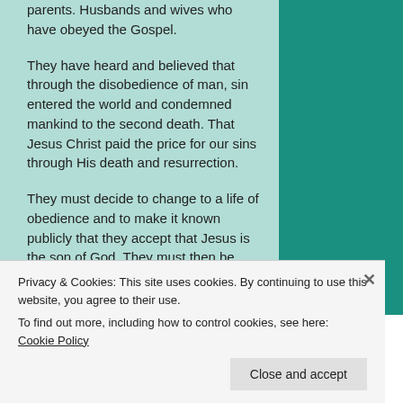parents. Husbands and wives who have obeyed the Gospel.
They have heard and believed that through the disobedience of man, sin entered the world and condemned mankind to the second death. That Jesus Christ paid the price for our sins through His death and resurrection.
They must decide to change to a life of obedience and to make it known publicly that they accept that Jesus is the son of God. They must then be immersed in baptism for the removal of their sins and arise to walk in the light of God’s word.
Privacy & Cookies: This site uses cookies. By continuing to use this website, you agree to their use. To find out more, including how to control cookies, see here: Cookie Policy